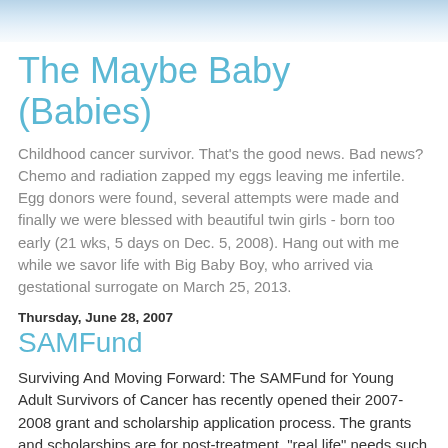[Figure (illustration): Blue sky/clouds decorative header banner image]
The Maybe Baby (Babies)
Childhood cancer survivor. That's the good news. Bad news? Chemo and radiation zapped my eggs leaving me infertile. Egg donors were found, several attempts were made and finally we were blessed with beautiful twin girls - born too early (21 wks, 5 days on Dec. 5, 2008). Hang out with me while we savor life with Big Baby Boy, who arrived via gestational surrogate on March 25, 2013.
Thursday, June 28, 2007
SAMFund
Surviving And Moving Forward: The SAMFund for Young Adult Survivors of Cancer has recently opened their 2007-2008 grant and scholarship application process. The grants and scholarships are for post-treatment, "real life" needs such as rent and other living expenses, tuition and loans, car and health insurance premiums, residual medical bills and